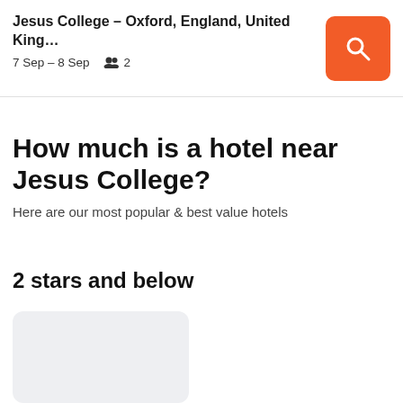Jesus College – Oxford, England, United King…
7 Sep – 8 Sep   2
How much is a hotel near Jesus College?
Here are our most popular & best value hotels
2 stars and below
[Figure (other): Hotel card placeholder (light grey rounded rectangle)]